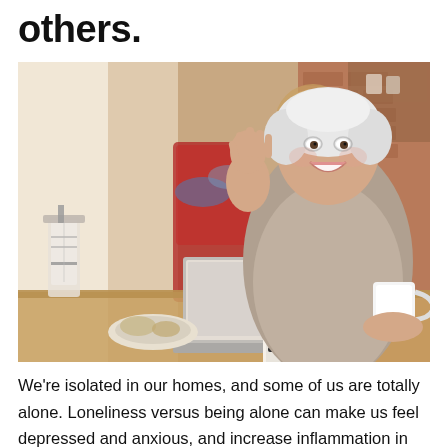others.
[Figure (photo): An elderly woman with short white hair, wearing a grey cardigan, smiling and waving at a laptop screen during a video call. She is holding a white mug with her other hand. On the table in front of her are a plate with food, a notebook, and a pen. In the background is a French press, a red chair draped with clothing, a large wall clock, and brick walls with wooden shelving.]
We're isolated in our homes, and some of us are totally alone. Loneliness versus being alone can make us feel depressed and anxious, and increase inflammation in the body. That can have a detrimental effect on the immune